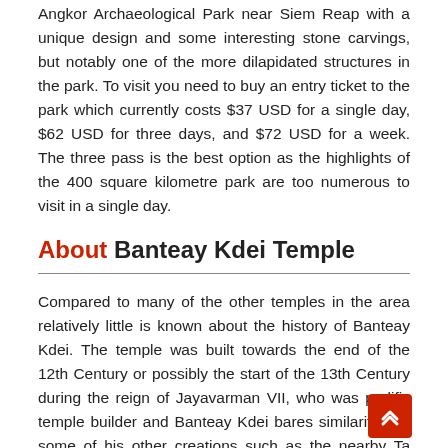Angkor Archaeological Park near Siem Reap with a unique design and some interesting stone carvings, but notably one of the more dilapidated structures in the park. To visit you need to buy an entry ticket to the park which currently costs $37 USD for a single day, $62 USD for three days, and $72 USD for a week. The three pass is the best option as the highlights of the 400 square kilometre park are too numerous to visit in a single day.
About Banteay Kdei Temple
Compared to many of the other temples in the area relatively little is known about the history of Banteay Kdei. The temple was built towards the end of the 12th Century or possibly the start of the 13th Century during the reign of Jayavarman VII, who was prolific temple builder and Banteay Kdei bares similarities to some of his other creations such as the nearby Ta Prohm and Preah Khan temples. The name Banteay Kdei means ‘Citadel of the Monks’ in reference to the central and oldest part of the temple which features a